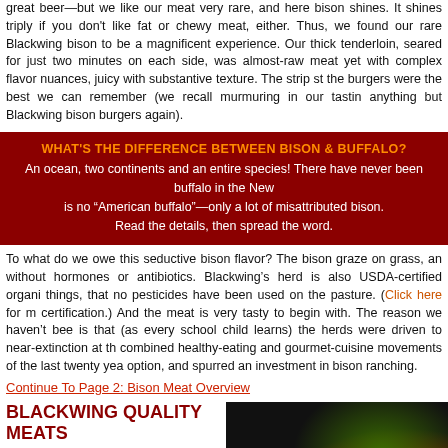great beer—but we like our meat very rare, and here bison shines. It shines triply if you don't like fat or chewy meat, either. Thus, we found our rare Blackwing bison to be a magnificent experience. Our thick tenderloin, seared for just two minutes on each side, was almost-raw meat yet with complex flavor nuances, juicy with substantive texture. The strip steaks and the burgers were the best we can remember (we recall murmuring in our tasting notes, never anything but Blackwing bison burgers again).
WHAT'S THE DIFFERENCE BETWEEN BISON & BUFFALO?
An ocean, two continents and an entire species! There have never been buffalo in the New World. There is no “American buffalo”—only a lot of misattributed bison. Read the details, then spread the word.
To what do we owe this seductive bison flavor? The bison graze on grass, and are raised without hormones or antibiotics. Blackwing’s herd is also USDA-certified organic, meaning, among things, that no pesticides have been used on the pasture. (Click here for more on the organic certification.) And the meat is very tasty to begin with. The reason we haven’t been eating it all along is that (as every school child learns) the herds were driven to near-extinction at the turn of the combined healthy-eating and gourmet-cuisine movements of the last twenty years made bison a viable option, and spurred an investment in bison ranching.
Continue To Page 2: Bison Meat Overview
BLACKWING QUALITY MEATS
Bison In Steaks, Roasts, Ground Meat and Other Cuts
Certified USDA Organic
Bison Sample Package: Total 6 Pounds
A Great Way To Sample Everything
[Figure (photo): Photo of bison/beef meat cuts with green garnish on dark background]